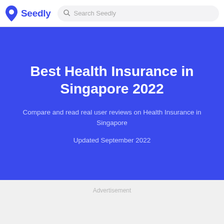Seedly — Search Seedly
Best Health Insurance in Singapore 2022
Compare and read real user reviews on Health Insurance in Singapore
Updated September 2022
Advertisement